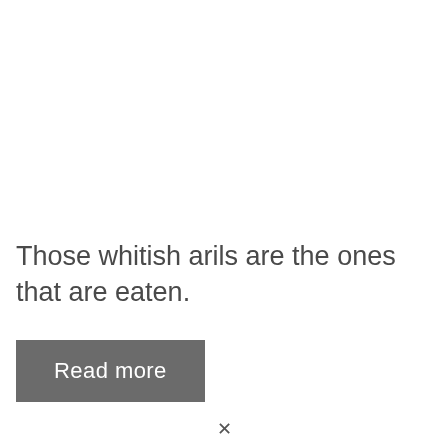Those whitish arils are the ones that are eaten.
Read more
×